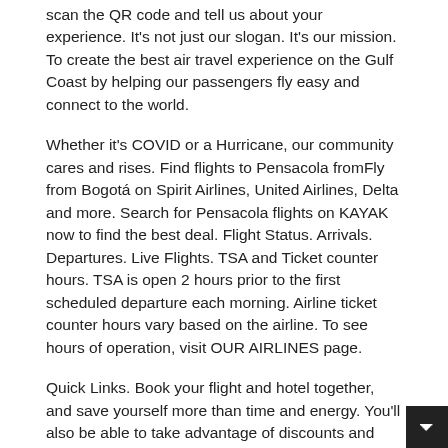scan the QR code and tell us about your experience. It's not just our slogan. It's our mission. To create the best air travel experience on the Gulf Coast by helping our passengers fly easy and connect to the world.
Whether it's COVID or a Hurricane, our community cares and rises. Find flights to Pensacola fromFly from Bogotá on Spirit Airlines, United Airlines, Delta and more. Search for Pensacola flights on KAYAK now to find the best deal. Flight Status. Arrivals. Departures. Live Flights. TSA and Ticket counter hours. TSA is open 2 hours prior to the first scheduled departure each morning. Airline ticket counter hours vary based on the airline. To see hours of operation, visit OUR AIRLINES page.
Quick Links. Book your flight and hotel together, and save yourself more than time and energy. You'll also be able to take advantage of discounts and coupons on your Pensacola vacation that you can't get when you book flights and hotel separately. Relax in Pensacola With Confidence and Convenience.
Going cheap doesn't mean giving up great service. An entire support team for your Scottsbluff to Pensacola flights. When